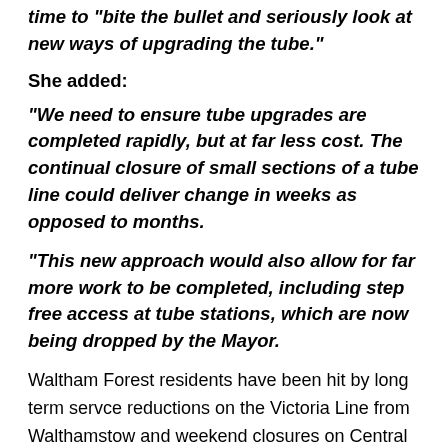time to “bite the bullet and seriously look at new ways of upgrading the tube.”
She added:
“We need to ensure tube upgrades are completed rapidly, but at far less cost. The continual closure of small sections of a tube line could deliver change in weeks as opposed to months.
“This new approach would also allow for far more work to be completed, including step free access at tube stations, which are now being dropped by the Mayor.
Waltham Forest residents have been hit by long term servce reductions on the Victoria Line from Walthamstow and weekend closures on Central line